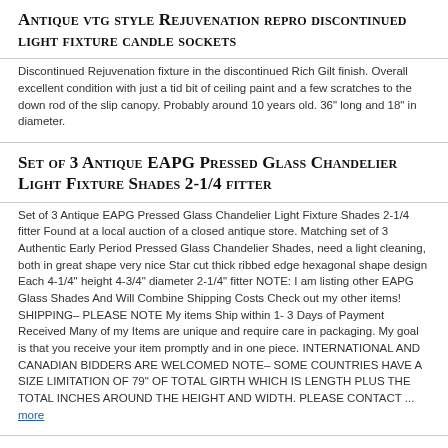Antique vtg style Rejuvenation repro discontinued light fixture candle sockets
Discontinued Rejuvenation fixture in the discontinued Rich Gilt finish. Overall excellent condition with just a tid bit of ceiling paint and a few scratches to the down rod of the slip canopy. Probably around 10 years old. 36" long and 18" in diameter.
Set of 3 Antique EAPG Pressed Glass Chandelier Light Fixture Shades 2-1/4 fitter
Set of 3 Antique EAPG Pressed Glass Chandelier Light Fixture Shades 2-1/4 fitter Found at a local auction of a closed antique store. Matching set of 3 Authentic Early Period Pressed Glass Chandelier Shades, need a light cleaning, both in great shape very nice Star cut thick ribbed edge hexagonal shape design Each 4-1/4" height 4-3/4" diameter 2-1/4" fitter NOTE: I am listing other EAPG Glass Shades And Will Combine Shipping Costs Check out my other items! SHIPPING– PLEASE NOTE My items Ship within 1- 3 Days of Payment Received Many of my Items are unique and require care in packaging. My goal is that you receive your item promptly and in one piece. INTERNATIONAL AND CANADIAN BIDDERS ARE WELCOMED NOTE– SOME COUNTRIES HAVE A SIZE LIMITATION OF 79" OF TOTAL GIRTH WHICH IS LENGTH PLUS THE TOTAL INCHES AROUND THE HEIGHT AND WIDTH. PLEASE CONTACT ... more
VINTAGE OLD ANTIQUE MID CENTURY CEILING LIGHT FIXTURE